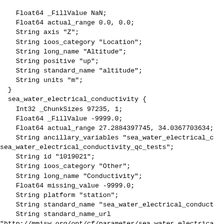Float64 _FillValue NaN;
    Float64 actual_range 0.0, 0.0;
    String axis "Z";
    String ioos_category "Location";
    String long_name "Altitude";
    String positive "up";
    String standard_name "altitude";
    String units "m";
  }
  sea_water_electrical_conductivity {
    Int32 _ChunkSizes 97235, 1;
    Float64 _FillValue -9999.0;
    Float64 actual_range 27.2884397745, 34.0367703634;
    String ancillary_variables "sea_water_electrical_c
sea_water_electrical_conductivity_qc_tests";
    String id "1019021";
    String ioos_category "Other";
    String long_name "Conductivity";
    Float64 missing_value -9999.0;
    String platform "station";
    String standard_name "sea_water_electrical_conduct
    String standard_name_url
"http://mmisw.org/ont/cf/parameter/sea_water_electrica
    String units "mS.cm-1";
  }
  sea_water_electrical_conductivity_qc_agg {